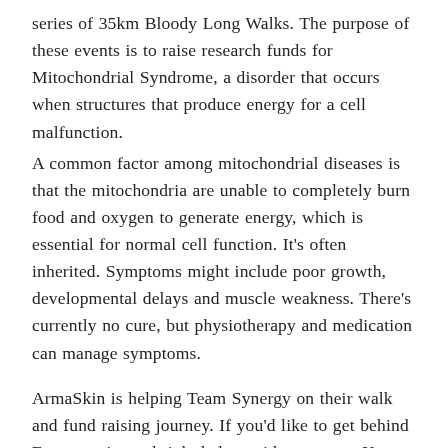series of 35km Bloody Long Walks. The purpose of these events is to raise research funds for Mitochondrial Syndrome, a disorder that occurs when structures that produce energy for a cell malfunction.
A common factor among mitochondrial diseases is that the mitochondria are unable to completely burn food and oxygen to generate energy, which is essential for normal cell function. It's often inherited. Symptoms might include poor growth, developmental delays and muscle weakness. There's currently no cure, but physiotherapy and medication can manage symptoms.
ArmaSkin is helping Team Synergy on their walk and fund raising journey. If you'd like to get behind Frances, pictured right below with teammate Karen